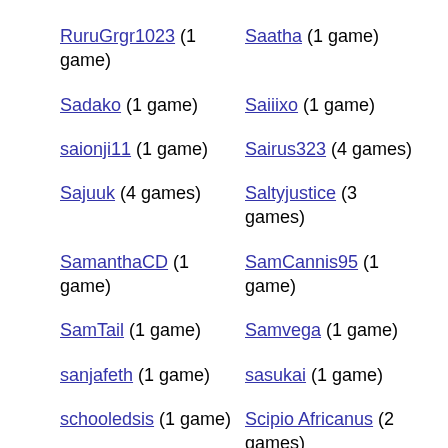RuruGrgr1023 (1 game)
Saatha (1 game)
Sadako (1 game)
Saiiixo (1 game)
saionji11 (1 game)
Sairus323 (4 games)
Sajuuk (4 games)
Saltyjustice (3 games)
SamanthaCD (1 game)
SamCannis95 (1 game)
SamTail (1 game)
Samvega (1 game)
sanjafeth (1 game)
sasukai (1 game)
schooledsis (1 game)
Scipio Africanus (2 games)
scoperative (1 game)
scottsinclair (1 game)
screamingwookies (1 game)
Seke (1 game)